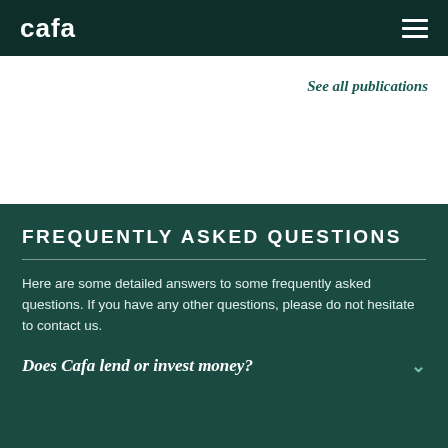cafa
See all publications
FREQUENTLY ASKED QUESTIONS
Here are some detailed answers to some frequently asked questions. If you have any other questions, please do not hesitate to contact us.
Does Cafa lend or invest money?